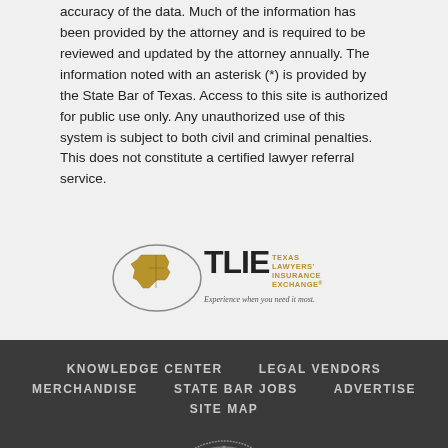accuracy of the data. Much of the information has been provided by the attorney and is required to be reviewed and updated by the attorney annually. The information noted with an asterisk (*) is provided by the State Bar of Texas. Access to this site is authorized for public use only. Any unauthorized use of this system is subject to both civil and criminal penalties. This does not constitute a certified lawyer referral service.
[Figure (logo): TLIE - Texas Lawyers' Insurance Exchange logo with Texas map shape and tagline 'Experience when you need it most.']
KNOWLEDGE CENTER   LEGAL VENDORS   MERCHANDISE   STATE BAR JOBS   ADVERTISE   SITE MAP
[Figure (logo): State Bar of Texas circular seal with star, Created in 1939]